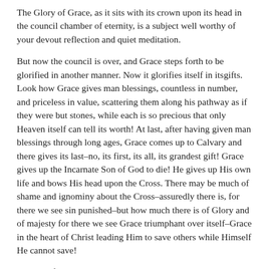The Glory of Grace, as it sits with its crown upon its head in the council chamber of eternity, is a subject well worthy of your devout reflection and quiet meditation.
But now the council is over, and Grace steps forth to be glorified in another manner. Now it glorifies itself in itsgifts. Look how Grace gives man blessings, countless in number, and priceless in value, scattering them along his pathway as if they were but stones, while each is so precious that only Heaven itself can tell its worth! At last, after having given man blessings through long ages, Grace comes up to Calvary and there gives its last–no, its first, its all, its grandest gift! Grace gives up the Incarnate Son of God to die! He gives up His own life and bows His head upon the Cross. There may be much of shame and ignominy about the Cross–assuredly there is, for there we see sin punished–but how much there is of Glory and of majesty for there we see Grace triumphant over itself–Grace in the heart of Christ leading Him to save others while Himself He cannot save!
We talk of these things, nowadays, as household words, but not thus do the angels speak concerning Grace glorified in the Person of the dying Son of God! Not thus did we think when, for the first time, we saw Him to be ours in the day of our sore trouble and sorrow! We shall not think so slightingly